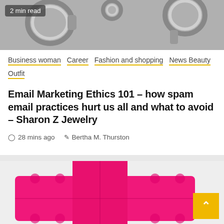[Figure (photo): Close-up photo of metallic jewelry rings/clasps on gray background with a '2 min read' badge overlay]
Business woman  Career  Fashion and shopping  News Beauty  Outfit
Email Marketing Ethics 101 – how spam email practices hurt us all and what to avoid – Sharon Z Jewelry
28 mins ago  Bertha M. Thurston
[Figure (photo): Bright pink/magenta Lego bricks arranged in a cross or plus shape on a light background, with a yellow back-to-top arrow button in the bottom right corner]